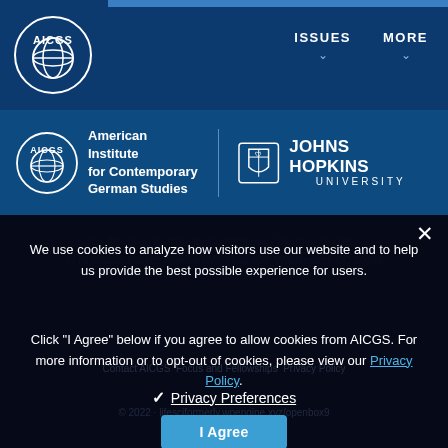AICGS | ISSUES ∨ | MORE ∨
[Figure (logo): AICGS globe logo and Johns Hopkins University logo banner with text: American Institute for Contemporary German Studies]
We use cookies to analyze how visitors use our website and to help us provide the best possible experience for users.

Click "I Agree" below if you agree to allow cookies from AICGS. For more information or to opt-out of cookies, please view our Privacy Policy.
❯ Privacy Preferences
I Agree